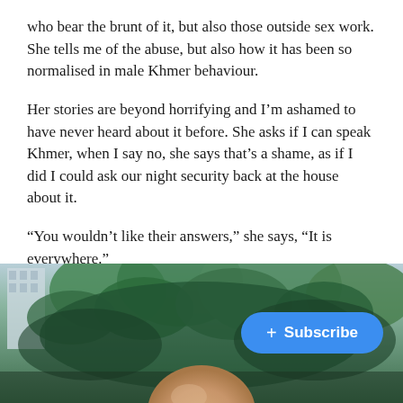who bear the brunt of it, but also those outside sex work. She tells me of the abuse, but also how it has been so normalised in male Khmer behaviour.
Her stories are beyond horrifying and I'm ashamed to have never heard about it before. She asks if I can speak Khmer, when I say no, she says that's a shame, as if I did I could ask our night security back at the house about it.
“You wouldn’t like their answers,” she says, “It is everywhere.”
[Figure (photo): Outdoor photo showing lush green foliage and trees in the background, a building visible on the left, and the top of a person's head (bald/light hair) at the bottom center. A blue Subscribe button with a plus icon is overlaid on the right side.]